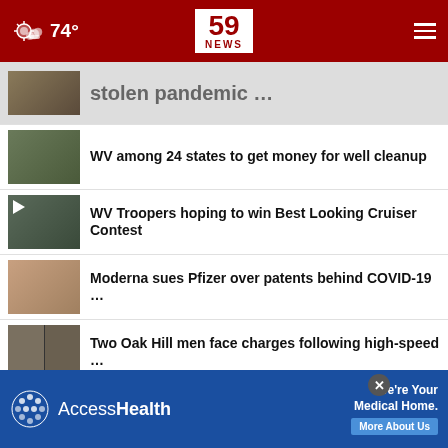59 NEWS — 74°
stolen pandemic …
WV among 24 states to get money for well cleanup
WV Troopers hoping to win Best Looking Cruiser Contest
Moderna sues Pfizer over patents behind COVID-19 …
Two Oak Hill men face charges following high-speed …
Multiple riders hurt on New Jersey roller coaster
[Figure (screenshot): AccessHealth advertisement banner — 'We're Your Medical Home. More About Us']